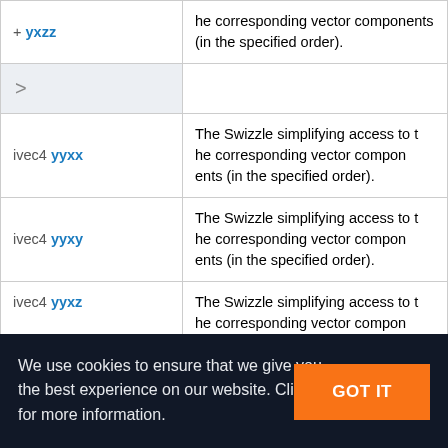| Member | Description |
| --- | --- |
| ivec4 yyxx | The Swizzle simplifying access to the corresponding vector components (in the specified order). |
| ivec4 yyxy | The Swizzle simplifying access to the corresponding vector components (in the specified order). |
| ivec4 yyxz | The Swizzle simplifying access to the corresponding vector components (in the specified order). |
We use cookies to ensure that we give you the best experience on our website. Click here for more information.